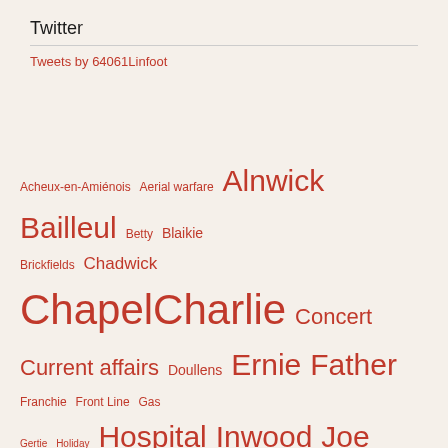Twitter
Tweets by 64061Linfoot
[Figure (infographic): Tag cloud with various words in different sizes, all in reddish-orange color: Acheux-en-Amiénois, Aerial warfare, Alnwick, Bailleul, Betty, Blaikie, Brickfields, Chadwick, Chapel, Charlie, Concert, Current affairs, Doullens, Ernie, Father, Franchie, Front Line, Gas, Gertie, Holiday, Hospital, Inwood, Joe, Kemmel, La Clytte, Leave, Letters, Library, Mack, Map, Metz-en-Couture, Mother, Music, Méteren, Naval warfare, Pelman, Recruitment, Sheffield, Shop, Somme, Sunderland, Trescault, War, Willie, Whittaker, Work]